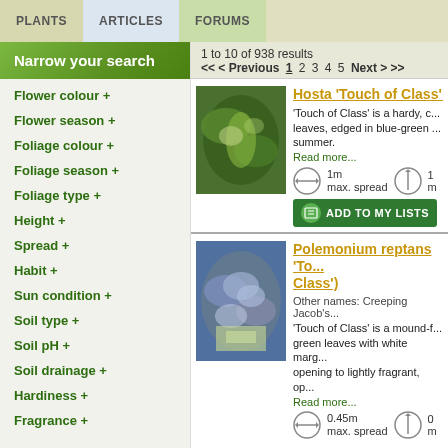PLANTS | ARTICLES | FORUMS
Narrow your search
Flower colour +
Flower season +
Foliage colour +
Foliage season +
Foliage type +
Height +
Spread +
Habit +
Sun condition +
Soil type +
Soil pH +
Soil drainage +
Hardiness +
Fragrance +
1 to 10 of 938 results
<< < Previous 1 2 3 4 5 Next > >>
Hosta 'Touch of Class' (
'Touch of Class' is a hardy, c... leaves, edged in blue-green ... summer. Read more...
1m max. spread
ADD TO MY LISTS
Polemonium reptans 'To... Class')
Other names: Creeping Jacob's...
'Touch of Class' is a mound-f... green leaves with white marg... opening to lightly fragrant, op... Read more...
0.45m max. spread